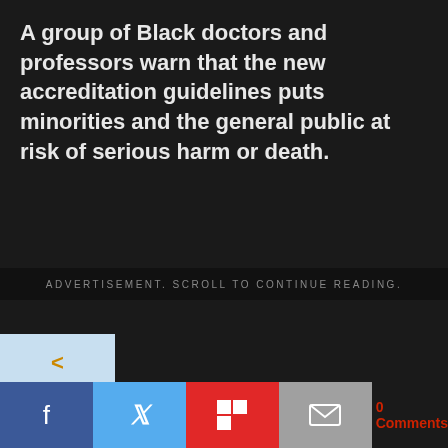A group of Black doctors and professors warn that the new accreditation guidelines puts minorities and the general public at risk of serious harm or death.
ADVERTISEMENT. SCROLL TO CONTINUE READING.
[Figure (other): Navigation back button with left arrow chevron symbol on light blue background]
0 Comments [Facebook share] [Twitter share] [Flipboard share] [Email share]